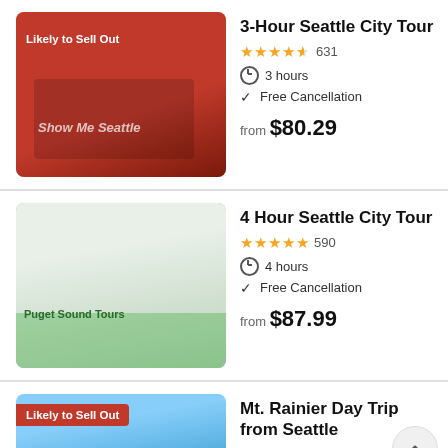3-Hour Seattle City Tour
★★★★½ 631
3 hours
Free Cancellation
from $80.29
4 Hour Seattle City Tour
★★★★★ 590
4 hours
Free Cancellation
from $87.99
Mt. Rainier Day Trip from Seattle